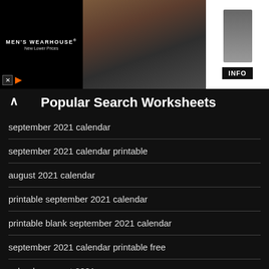[Figure (screenshot): Men's Wearhouse advertisement banner showing a couple in formal wear and a man in a gray suit with INFO button]
Popular Search Worksheets
september 2021 calendar
september 2021 calendar printable
august 2021 calendar
printable september 2021 calendar
printable blank september 2021 calendar
september 2021 calendar printable free
calendar august 2021
blank september 2021 calendar printable free
september calendar 2021 printable